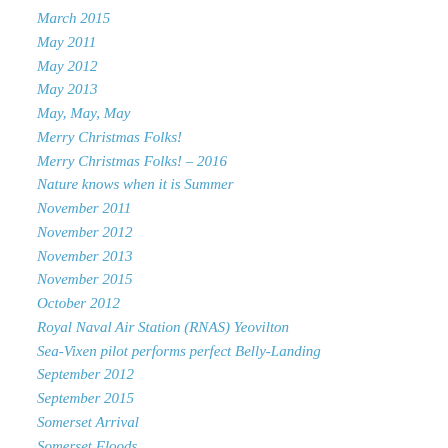March 2015
May 2011
May 2012
May 2013
May, May, May
Merry Christmas Folks!
Merry Christmas Folks! – 2016
Nature knows when it is Summer
November 2011
November 2012
November 2013
November 2015
October 2012
Royal Naval Air Station (RNAS) Yeovilton
Sea-Vixen pilot performs perfect Belly-Landing
September 2012
September 2015
Somerset Arrival
Somerset Floods
The Great Storm of 1703